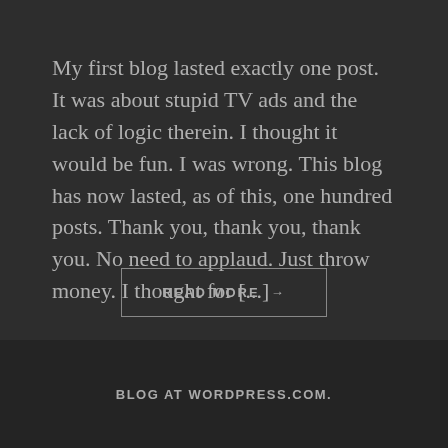My first blog lasted exactly one post. It was about stupid TV ads and the lack of logic therein. I thought it would be fun. I was wrong. This blog has now lasted, as of this, one hundred posts. Thank you, thank you, thank you. No need to applaud. Just throw money. I thought for [...]
READ MORE →
BLOG AT WORDPRESS.COM.